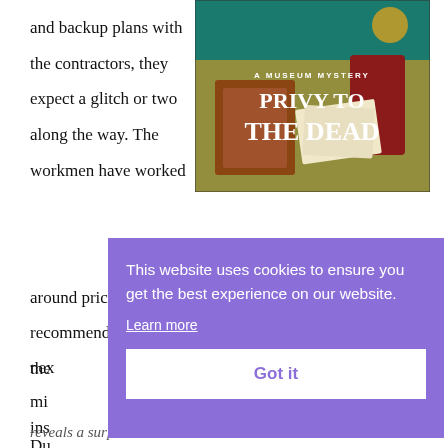and backup plans with the contractors, they expect a glitch or two along the way. The workmen have worked around priceless items on other jobs, come highly recommended, can work in one area before moving to the nex
[Figure (photo): Book cover for 'Privy to the Dead: A Museum Mystery' showing antique items on a desk]
mi
ins
Du
reveals a surprise. when the cabinets in the basement were
This website uses cookies to ensure you get the best experience on our website. Learn more
Got it